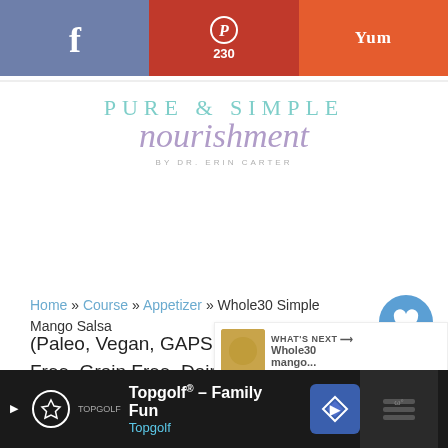[Figure (screenshot): Social sharing bar with Facebook (blue-grey), Pinterest with 230 count (red), and Yummly (orange) buttons]
[Figure (logo): Pure & Simple Nourishment logo by Dr. Erin Carter — teal uppercase serif text 'PURE & SIMPLE' with purple italic script 'nourishment' below]
Home » Course » Appetizer » Whole30 Simple Mango Salsa (Paleo, Vegan, GAPS, SCD, Gluten Free, Grain Free, Dairy Free)
[Figure (infographic): Floating share widget with heart icon (232 count) and share icon]
[Figure (infographic): What's Next banner showing Whole30 mango... with thumbnail]
[Figure (infographic): Ad bar: Topgolf Family Fun advertisement with navigation icon and dark right panel]